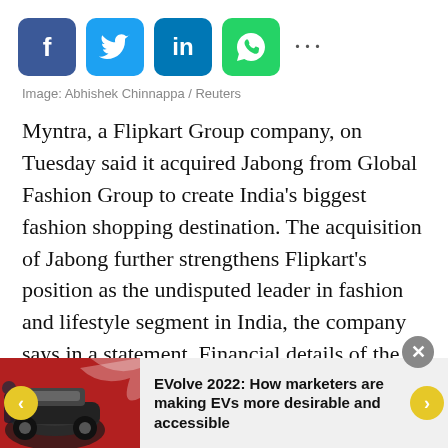[Figure (other): Social media sharing icons: Facebook (blue), Twitter (light blue), LinkedIn (dark blue), WhatsApp (green), and three dots for more options]
Image: Abhishek Chinnappa / Reuters
Myntra, a Flipkart Group company, on Tuesday said it acquired Jabong from Global Fashion Group to create India's biggest fashion shopping destination. The acquisition of Jabong further strengthens Flipkart's position as the undisputed leader in fashion and lifestyle segment in India, the company says in a statement. Financial details of the transaction were not disclosed.
[Figure (photo): Thumbnail image of a car on a red background, used as a navigation card image]
EVolve 2022: How marketers are making EVs more desirable and accessible